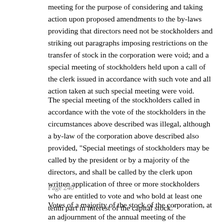meeting for the purpose of considering and taking action upon proposed amendments to the by-laws providing that directors need not be stockholders and striking out paragraphs imposing restrictions on the transfer of stock in the corporation were void; and a special meeting of stockholders held upon a call of the clerk issued in accordance with such vote and all action taken at such special meeting were void.
The special meeting of the stockholders called in accordance with the vote of the stockholders in the circumstances above described was illegal, although a by-law of the corporation above described also provided, "Special meetings of stockholders may be called by the president or by a majority of the directors, and shall be called by the clerk upon written application of three or more stockholders who are entitled to vote and who bold at least one tenth part in interest of the capital stock."
Page 240
Votes of a majority of the stock of the corporation, at an adjournment of the annual meeting of the stockholders held after the special meeting of the stockholders had...